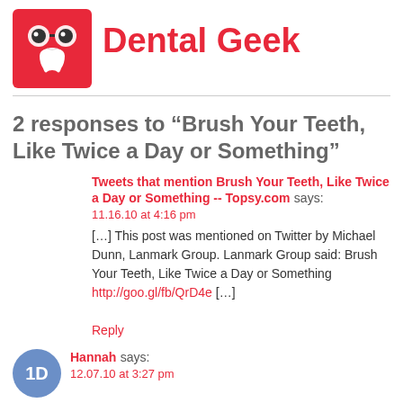[Figure (logo): Dental Geek logo: pink/red square with a cartoon tooth wearing glasses]
Dental Geek
2 responses to “Brush Your Teeth, Like Twice a Day or Something”
Tweets that mention Brush Your Teeth, Like Twice a Day or Something -- Topsy.com says:
11.16.10 at 4:16 pm
[...] This post was mentioned on Twitter by Michael Dunn, Lanmark Group. Lanmark Group said: Brush Your Teeth, Like Twice a Day or Something http://goo.gl/fb/QrD4e [...]
Reply
[Figure (photo): Avatar for Hannah: blue circle with white 1D text]
Hannah says:
12.07.10 at 3:27 pm